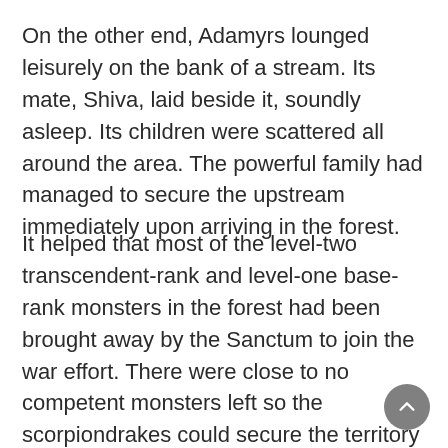On the other end, Adamyrs lounged leisurely on the bank of a stream. Its mate, Shiva, laid beside it, soundly asleep. Its children were scattered all around the area. The powerful family had managed to secure the upstream immediately upon arriving in the forest.
It helped that most of the level-two transcendent-rank and level-one base-rank monsters in the forest had been brought away by the Sanctum to join the war effort. There were close to no competent monsters left so the scorpiondrakes could secure the territory without much hassle.